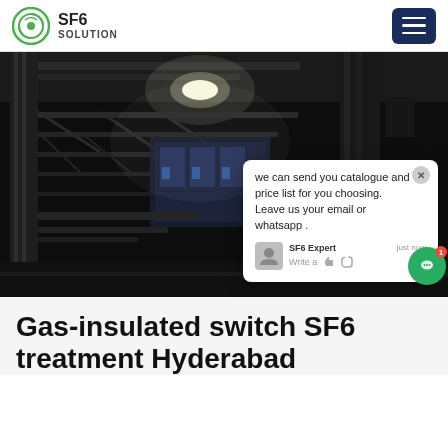SF6 SOLUTION
[Figure (photo): Dark industrial photo of a gas-insulated switchgear facility interior, with steel scaffolding, pipes, and electrical equipment visible. A bright overhead light illuminates the scene. An overlay chat popup reads: 'we can send you catalogue and price list for you choosing. Leave us your email or whatsapp .' attributed to SF6 Expert. A green chat bubble button is visible on the right. SF6China watermark in orange italic text at bottom right.]
Gas-insulated switch SF6 treatment Hyderabad